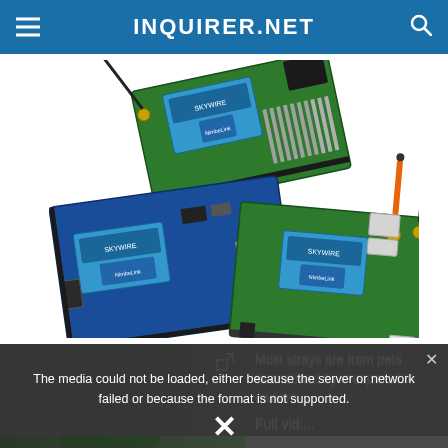INQUIRER.NET
[Figure (photo): Three green circuit boards/Arduino-style development boards stacked and arranged on a white background, each with NimbeLink Skywire cellular modem modules attached. The top board has a black antenna, the bottom-right board has orange and black antennas.]
The media could not be loaded, either because the server or network failed or because the format is not supported.
Most strays are from pets abandoned by irresponsible owners. Full vid:...